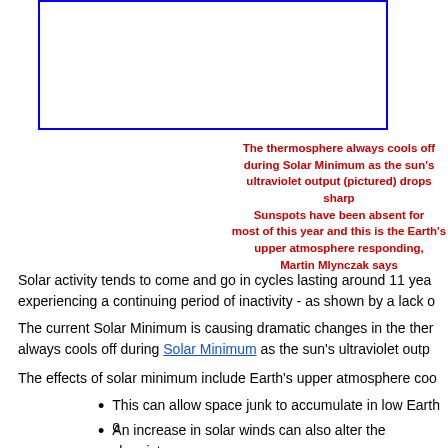[Figure (other): Blue-bordered rectangle placeholder for an image related to solar UV output]
The thermosphere always cools off during Solar Minimum as the sun's ultraviolet output (pictured) drops sharply. Sunspots have been absent for most of this year and this is the Earth's upper atmosphere responding, Martin Mlynczak says
Solar activity tends to come and go in cycles lasting around 11 years. The sun is currently experiencing a continuing period of inactivity - as shown by a lack of sunspots.
The current Solar Minimum is causing dramatic changes in the thermosphere, which always cools off during Solar Minimum as the sun's ultraviolet output drops.
The effects of solar minimum include Earth's upper atmosphere cooling.
This can allow space junk to accumulate in low Earth orbit.
An increase in solar winds can also alter the chemistry of Earth's upper atmosphere, which may trigger more lightning and aid in the formation of clouds.